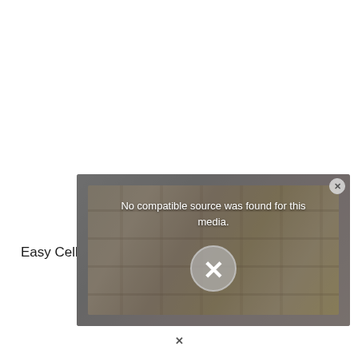Easy Cellar will show you:
[Figure (screenshot): Video player overlay showing 'No compatible source was found for this media.' error message with a large X button and a close button in the top right corner. Background shows a blurred image of store shelves.]